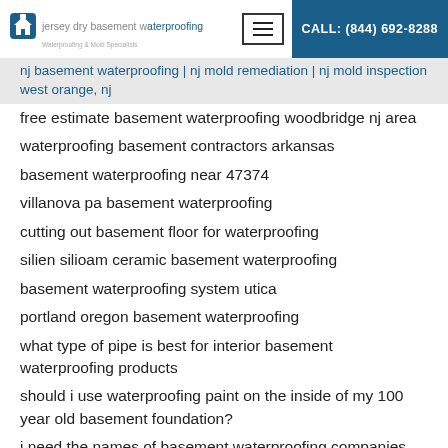jersey dry basement waterproofing | CALL: (844) 692-8288
nj basement waterproofing | nj mold remediation | nj mold inspection west orange, nj
free estimate basement waterproofing woodbridge nj area
waterproofing basement contractors arkansas
basement waterproofing near 47374
villanova pa basement waterproofing
cutting out basement floor for waterproofing
silien silioam ceramic basement waterproofing
basement waterproofing system utica
portland oregon basement waterproofing
what type of pipe is best for interior basement waterproofing products
should i use waterproofing paint on the inside of my 100 year old basement foundation?
i need the names of basement waterproofing companies